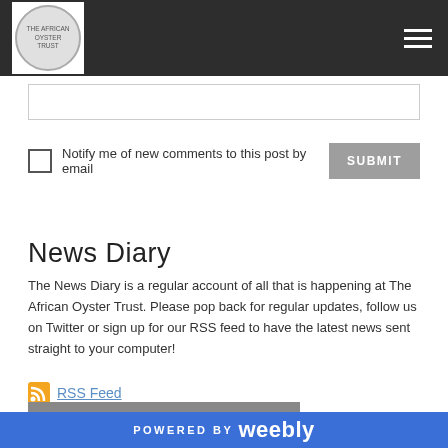[Figure (logo): Website logo - circular emblem with The African Oyster Trust branding in top navigation bar]
Notify me of new comments to this post by email
SUBMIT
News Diary
The News Diary is a regular account of all that is happening at The African Oyster Trust. Please pop back for regular updates, follow us on Twitter or sign up for our RSS feed to have the latest news sent straight to your computer!
RSS Feed
SUBSCRIBE TO OUR EMAIL UPDATES
POWERED BY weebly